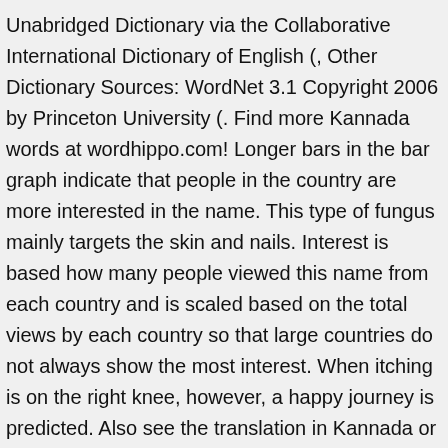Unabridged Dictionary via the Collaborative International Dictionary of English (, Other Dictionary Sources: WordNet 3.1 Copyright 2006 by Princeton University (. Find more Kannada words at wordhippo.com! Longer bars in the bar graph indicate that people in the country are more interested in the name. This type of fungus mainly targets the skin and nails. Interest is based how many people viewed this name from each country and is scaled based on the total views by each country so that large countries do not always show the most interest. When itching is on the right knee, however, a happy journey is predicted. Also see the translation in Kannada or translation in English, synonyms, antonyms, related words, image and pronunciation for helping spoken English improvement or spoken Kannada improvement. U.S. Census Bureau: Frequently Occurring Surnames from the Census 2000 (public domain). Stir all ingredients together in a mixing glass. English is one of the most widely spoken languages across the globe and a common language of choice for people from different backgrounds trying to communicate with each